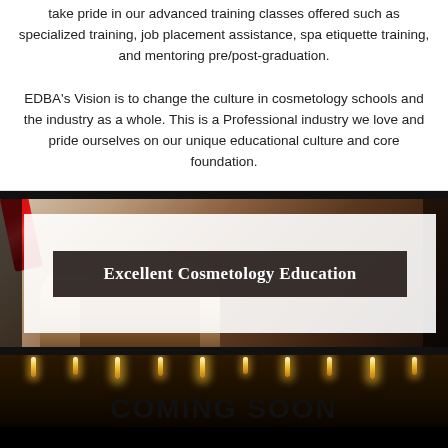take pride in our advanced training classes offered such as specialized training, job placement assistance, spa etiquette training, and mentoring pre/post-graduation.
EDBA's Vision is to change the culture in cosmetology schools and the industry as a whole. This is a Professional industry we love and pride ourselves on our unique educational culture and core foundation.
[Figure (photo): A banner photo showing cosmetology tools (makeup brushes, red lip item) with a white overlay box containing a dark title box reading 'Excellent Cosmetology Education']
Excellent Cosmetology Education
[Figure (photo): Bottom photo with candles/lights and 'COMING SOON' text in large dark letters]